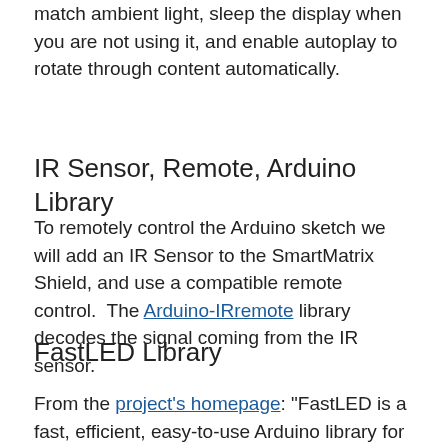match ambient light, sleep the display when you are not using it, and enable autoplay to rotate through content automatically.
IR Sensor, Remote, Arduino Library
To remotely control the Arduino sketch we will add an IR Sensor to the SmartMatrix Shield, and use a compatible remote control.  The Arduino-IRremote library decodes the signal coming from the IR sensor.
FastLED Library
From the project's homepage: "FastLED is a fast, efficient, easy-to-use Arduino library for programming addressable LED strips and pixels such as WS2810, WS2811, LPD8806, Neopixel and